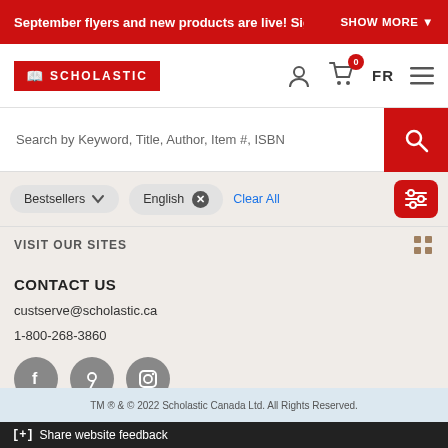September flyers and new products are live! Sig   SHOW MORE ↓
[Figure (logo): Scholastic Canada logo - red rectangle with book icon and SCHOLASTIC text in white]
Search by Keyword, Title, Author, Item #, ISBN
Bestsellers   English ✕   Clear All
VISIT OUR SITES
CONTACT US
custserve@scholastic.ca
1-800-268-3860
[Figure (illustration): Social media icons: Facebook, Pinterest, Instagram - grey circles with white icons]
TM ® & © 2022 Scholastic Canada Ltd. All Rights Reserved.
[+] Share website feedback